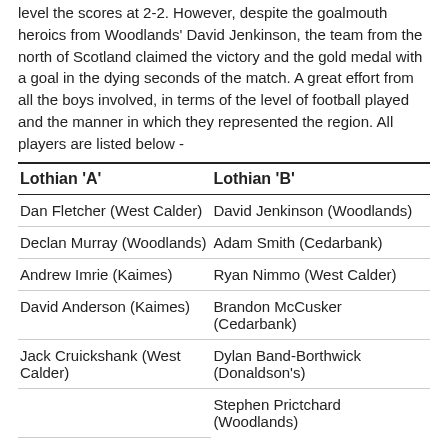level the scores at 2-2.  However, despite the goalmouth heroics from  Woodlands' David Jenkinson, the team from the north of Scotland claimed the victory and the gold medal with a goal in the dying seconds of the match. A great effort from all the boys involved, in terms of the level of football played and the manner in which they represented the region.  All players are listed below -
| Lothian 'A' | Lothian 'B' |
| --- | --- |
| Dan Fletcher (West Calder) | David Jenkinson (Woodlands) |
| Declan Murray (Woodlands) | Adam Smith (Cedarbank) |
| Andrew Imrie (Kaimes) | Ryan Nimmo (West Calder) |
| David Anderson (Kaimes) | Brandon McCusker (Cedarbank) |
| Jack Cruickshank (West Calder) | Dylan Band-Borthwick (Donaldson's) |
|  | Stephen Prictchard (Woodlands) |
Thanks is extended to all the teachers and support staff who worked hard prior and during the event to enable the young people the opportunity to represent the Lothian Branch.
Neal Herbert -Lothian Disability Sport
[Figure (other): Social sharing buttons: a blue Facebook button, a LinkedIn Share button, and a count box showing 0]